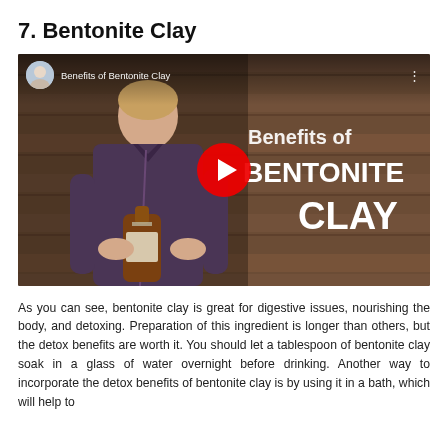7. Bentonite Clay
[Figure (screenshot): YouTube video thumbnail showing a man in a dark shirt holding a brown glass bottle, with text overlay reading 'Benefits of BENTONITE CLAY' and a YouTube play button in the center. A YouTube top bar shows 'Benefits of Bentonite Clay' title and a circular avatar.]
As you can see, bentonite clay is great for digestive issues, nourishing the body, and detoxing. Preparation of this ingredient is longer than others, but the detox benefits are worth it. You should let a tablespoon of bentonite clay soak in a glass of water overnight before drinking. Another way to incorporate the detox benefits of bentonite clay is by using it in a bath, which will help to